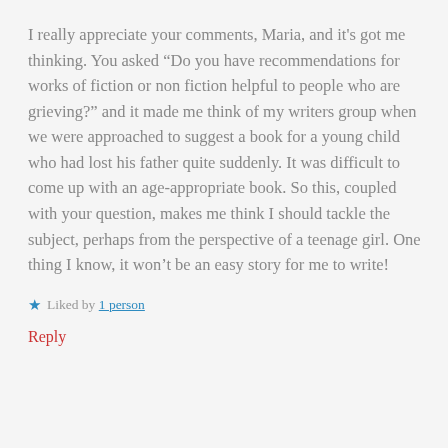I really appreciate your comments, Maria, and it's got me thinking. You asked “Do you have recommendations for works of fiction or non fiction helpful to people who are grieving?” and it made me think of my writers group when we were approached to suggest a book for a young child who had lost his father quite suddenly. It was difficult to come up with an age-appropriate book. So this, coupled with your question, makes me think I should tackle the subject, perhaps from the perspective of a teenage girl. One thing I know, it won’t be an easy story for me to write!
★ Liked by 1 person
Reply